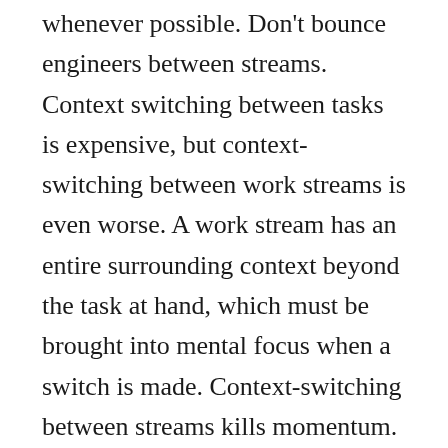whenever possible. Don't bounce engineers between streams. Context switching between tasks is expensive, but context-switching between work streams is even worse. A work stream has an entire surrounding context beyond the task at hand, which must be brought into mental focus when a switch is made. Context-switching between streams kills momentum. When someone stays on the same stream they can build momentum and are more likely to smoothly transition from one task to the next and maintain flow.